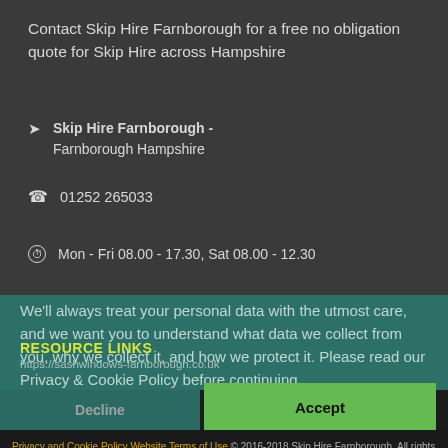Contact Skip Hire Farnborough for a free no obligation quote for Skip Hire across Hampshire
Skip Hire Farnborough - Farnborough Hampshire
01252 265033
Mon - Fri 08.00 - 17.30, Sat 08.00 - 12.30
We'll always treat your personal data with the utmost care, and we want you to understand what data we collect from you, why we collect it, and how we protect it. Please read our Privacy & Cookie Policy before continuing.
RESOURCE LINKS
https://sashwindows-farnborough.co.uk
Read Our Privacy and Cookie Policy
Decline
Accept
Privacy and Cookie Policy Website Terms of Use © 2016-2018 Skip Hire Farnborough. All rights reserved.